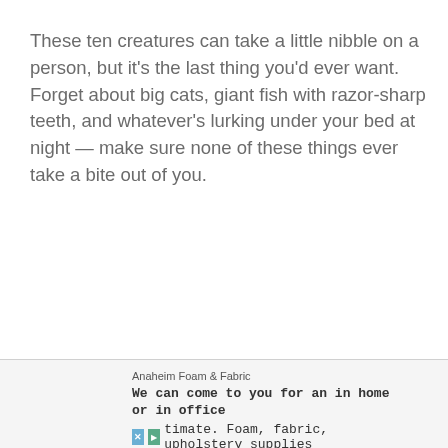These ten creatures can take a little nibble on a person, but it's the last thing you'd ever want. Forget about big cats, giant fish with razor-sharp teeth, and whatever's lurking under your bed at night — make sure none of these things ever take a bite out of you.
Anaheim Foam & Fabric
We can come to you for an in home or in office timate. Foam, fabric, upholstery supplies